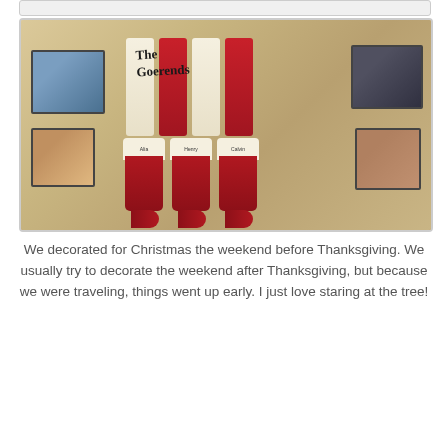[Figure (photo): A photo of Christmas stockings hung on a DIY wooden pallet sign reading 'The Goerends' on a wall, with family photos in frames on either side.]
We decorated for Christmas the weekend before Thanksgiving. We usually try to decorate the weekend after Thanksgiving, but because we were traveling, things went up early. I just love staring at the tree!